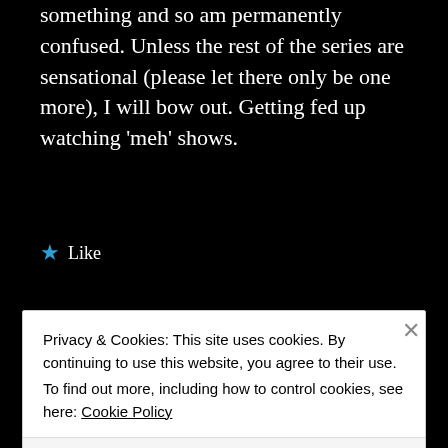something and so am permanently confused. Unless the rest of the series are sensational (please let there only be one more), I will bow out. Getting fed up watching 'meh' shows.
★ Like
Pingback: REVIEW Grace (S2 E4/4) – The Killing Times
Privacy & Cookies: This site uses cookies. By continuing to use this website, you agree to their use.
To find out more, including how to control cookies, see here: Cookie Policy
Close and accept